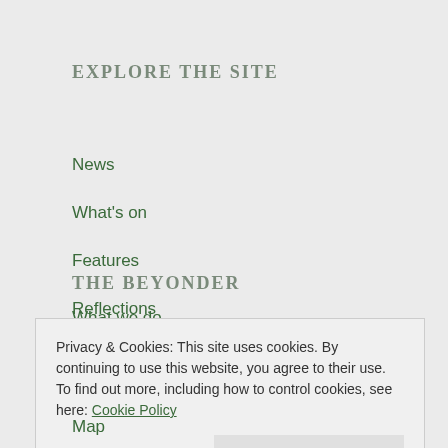EXPLORE THE SITE
News
What's on
Features
Reflections
Nature and wildlife
Food and drink
THE BEYONDER
What we do
Privacy & Cookies: This site uses cookies. By continuing to use this website, you agree to their use.
To find out more, including how to control cookies, see here: Cookie Policy
Close and accept
Map